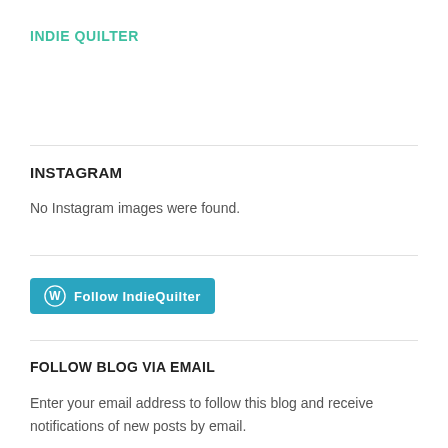INDIE QUILTER
INSTAGRAM
No Instagram images were found.
[Figure (other): WordPress Follow button: Follow IndieQuilter]
FOLLOW BLOG VIA EMAIL
Enter your email address to follow this blog and receive notifications of new posts by email.